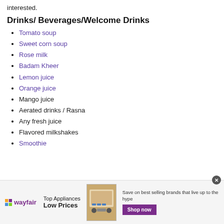interested.
Drinks/ Beverages/Welcome Drinks
Tomato soup
Sweet corn soup
Rose milk
Badam Kheer
Lemon juice
Orange juice
Mango juice
Aerated drinks / Rasna
Any fresh juice
Flavored milkshakes
Smoothie
[Figure (infographic): Wayfair advertisement banner: Top Appliances Low Prices, Save on best selling brands that live up to the hype, Shop now button]